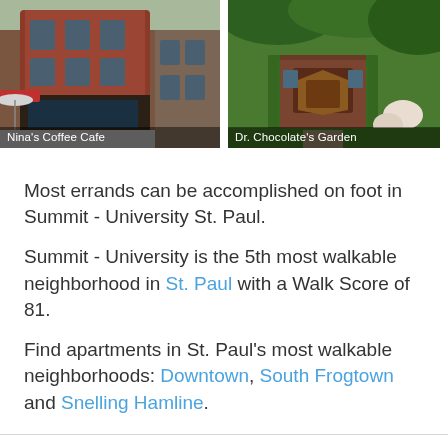[Figure (photo): Photo of Nina's Coffee Cafe, a multi-story red brick building with a cafe storefront and outdoor umbrella]
[Figure (photo): Photo of Dr. Chocolate's Garden, a building covered in ivy with a sign and lush greenery]
Most errands can be accomplished on foot in Summit - University St. Paul.
Summit - University is the 5th most walkable neighborhood in St. Paul with a Walk Score of 81.
Find apartments in St. Paul's most walkable neighborhoods: Downtown, South Frogtown and Snelling Hamline.
Summit - University St. Paul